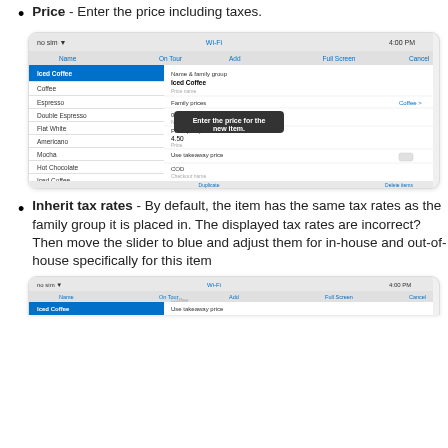Price - Enter the price including taxes.
[Figure (screenshot): Screenshot of a POS/menu management iPad app showing a coffee item entry form. A tooltip reads 'Enter the price for the new item.' The form shows fields for Name & family group, Family prices, Price (with value 4.50), Use takeaway price, COD, Startup price, and Derive VAT (toggled on). Left panel shows a list of menu items including Coffee, Espresso, Double Espresso, Flat White, Americano, Mocha, Hot Chocolate, Iced Coffee.]
Inherit tax rates - By default, the item has the same tax rates as the family group it is placed in. The displayed tax rates are incorrect? Then move the slider to blue and adjust them for in-house and out-of-house specifically for this item
[Figure (screenshot): Partial screenshot of the same POS iPad app showing the bottom portion of the item entry form with Use takeaway price field visible and the left panel showing Iced Coffee selected and Coffee listed below.]